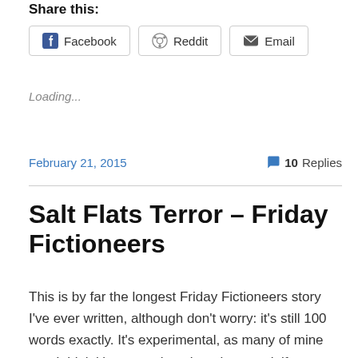Share this:
Facebook
Reddit
Email
Loading...
February 21, 2015
10 Replies
Salt Flats Terror – Friday Fictioneers
This is by far the longest Friday Fictioneers story I've ever written, although don't worry: it's still 100 words exactly. It's experimental, as many of mine are. I think it's pretty clear, but please ask if you don't understand it.